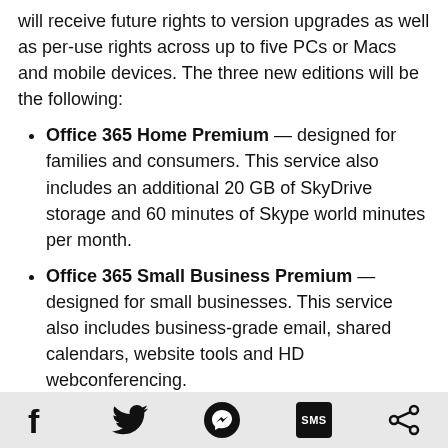will receive future rights to version upgrades as well as per-use rights across up to five PCs or Macs and mobile devices. The three new editions will be the following:
Office 365 Home Premium — designed for families and consumers. This service also includes an additional 20 GB of SkyDrive storage and 60 minutes of Skype world minutes per month.
Office 365 Small Business Premium — designed for small businesses. This service also includes business-grade email, shared calendars, website tools and HD webconferencing.
Office 365 ProPlus — designed for enterprise customers who want advanced business capabilities and the flexibility to deploy and
Social share icons: Facebook, Twitter, Messenger, SMS, Share